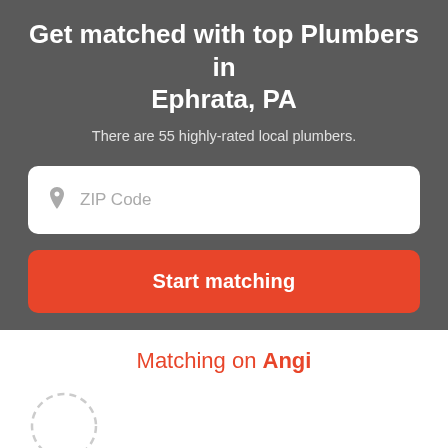Get matched with top Plumbers in Ephrata, PA
There are 55 highly-rated local plumbers.
[Figure (other): ZIP Code input field with location pin icon placeholder]
Start matching
Matching on Angi
[Figure (other): Circular dashed icon at bottom left corner]